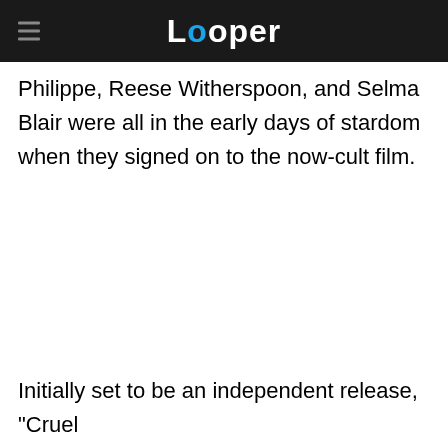Looper
Philippe, Reese Witherspoon, and Selma Blair were all in the early days of stardom when they signed on to the now-cult film.
Initially set to be an independent release, "Cruel